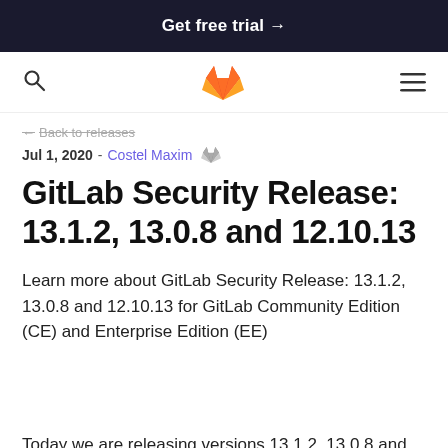Get free trial →
← Back to releases
Jul 1, 2020 - Costel Maxim
GitLab Security Release: 13.1.2, 13.0.8 and 12.10.13
Learn more about GitLab Security Release: 13.1.2, 13.0.8 and 12.10.13 for GitLab Community Edition (CE) and Enterprise Edition (EE)
Today we are releasing versions 13.1.2, 13.0.8 and